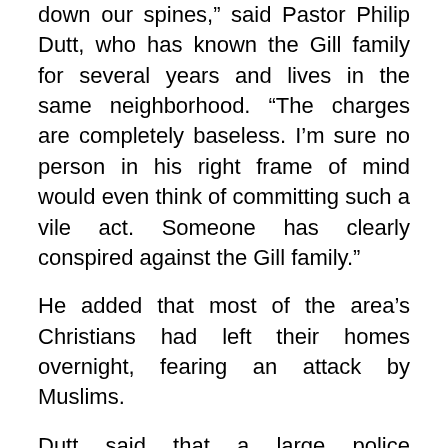down our spines,” said Pastor Philip Dutt, who has known the Gill family for several years and lives in the same neighborhood. “The charges are completely baseless. I’m sure no person in his right frame of mind would even think of committing such a vile act. Someone has clearly conspired against the Gill family.”
He added that most of the area’s Christians had left their homes overnight, fearing an attack by Muslims.
Dutt said that a large police contingent arrived in time and took Gill and his son into custody after assuring the enraged mob that a case under the blasphemy laws would be registered against the two men. Police remained stationed in the area to provide protection to area Christians, but the atmosphere was tense.
According to some reports, a group of angry Muslims